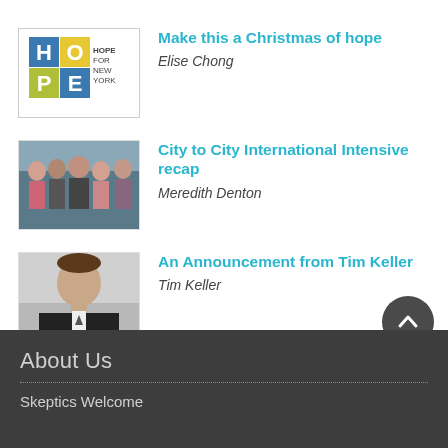[Figure (logo): Hope for New York logo with colored block letters H, O, P, E and text 'HOPE FOR NEW YORK']
Make this a Christmas of hope
Elise Chong
[Figure (photo): Group photo of five people]
City to City International Intensive recap
Meredith Denton
[Figure (photo): Portrait photo of a man in dark suit]
An Announcement from Tim Keller
Tim Keller
About Us
Skeptics Welcome